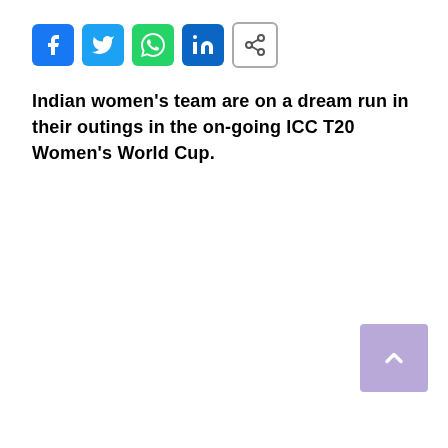[Figure (other): Social sharing icons row: Facebook (blue), Twitter (light blue), WhatsApp (green), LinkedIn (blue), Copy link (white/grey border)]
Indian women's team are on a dream run in their outings in the on-going ICC T20 Women's World Cup.
[Figure (other): Back to top button — purple/lavender square with white upward caret arrow]